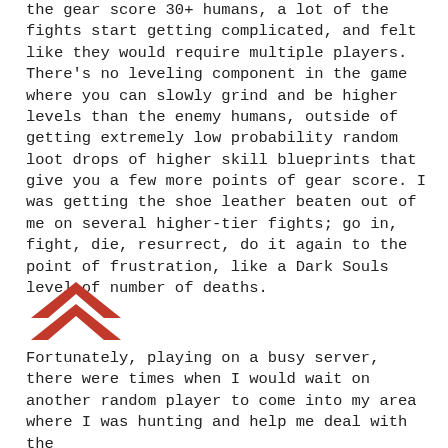the gear score 30+ humans, a lot of the fights start getting complicated, and felt like they would require multiple players. There's no leveling component in the game where you can slowly grind and be higher levels than the enemy humans, outside of getting extremely low probability random loot drops of higher skill blueprints that give you a few more points of gear score. I was getting the shoe leather beaten out of me on several higher-tier fights; go in, fight, die, resurrect, do it again to the point of frustration, like a Dark Souls level of number of deaths.
[Figure (illustration): Red upward-pointing chevron/arrow icon]
Fortunately, playing on a busy server, there were times when I would wait on another random player to come into my area where I was hunting and help me deal with the